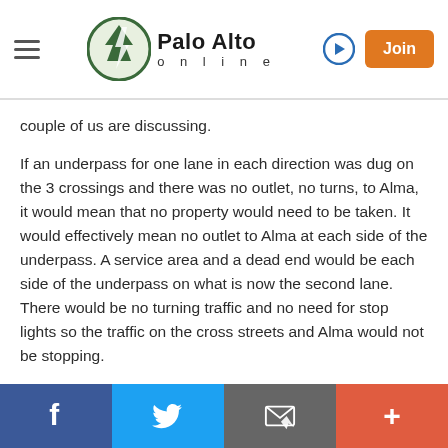Palo Alto online
couple of us are discussing.
If an underpass for one lane in each direction was dug on the 3 crossings and there was no outlet, no turns, to Alma, it would mean that no property would need to be taken. It would effectively mean no outlet to Alma at each side of the underpass. A service area and a dead end would be each side of the underpass on what is now the second lane. There would be no turning traffic and no need for stop lights so the traffic on the cross streets and Alma would not be stopping.
The idea came to me when I was sitting in my car waiting for the lights/barriers to let me through. It
Social share bar: Facebook, Twitter, Email, More